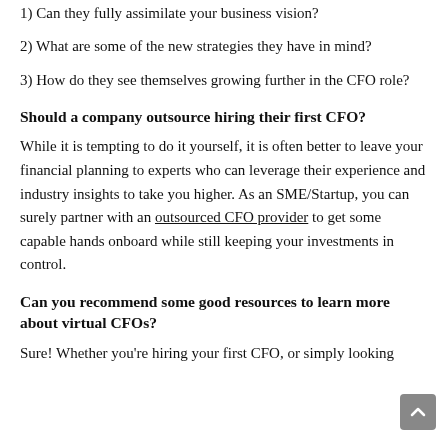1) Can they fully assimilate your business vision?
2) What are some of the new strategies they have in mind?
3) How do they see themselves growing further in the CFO role?
Should a company outsource hiring their first CFO?
While it is tempting to do it yourself, it is often better to leave your financial planning to experts who can leverage their experience and industry insights to take you higher. As an SME/Startup, you can surely partner with an outsourced CFO provider to get some capable hands onboard while still keeping your investments in control.
Can you recommend some good resources to learn more about virtual CFOs?
Sure! Whether you're hiring your first CFO, or simply looking